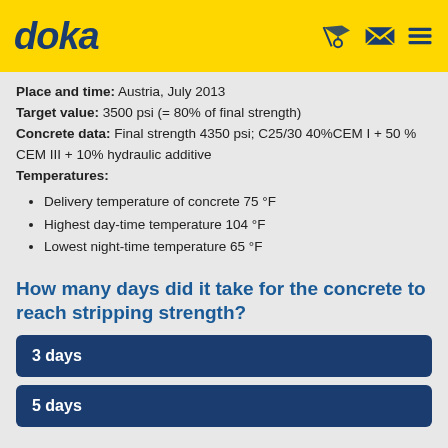doka
Place and time: Austria, July 2013
Target value: 3500 psi (= 80% of final strength)
Concrete data: Final strength 4350 psi; C25/30 40%CEM I + 50 % CEM III + 10% hydraulic additive
Temperatures:
Delivery temperature of concrete 75 °F
Highest day-time temperature 104 °F
Lowest night-time temperature 65 °F
How many days did it take for the concrete to reach stripping strength?
3 days
5 days